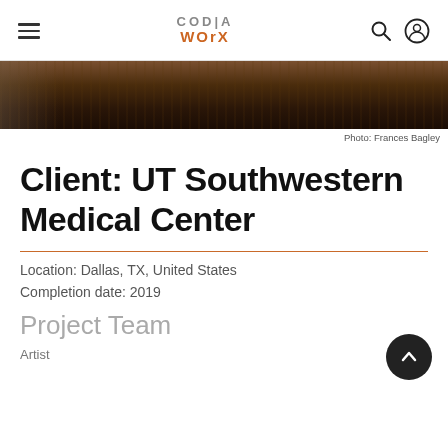CODIA WORX navigation header with hamburger menu, logo, search and user icons
[Figure (photo): Dark brown textured landscape photograph, cropped strip]
Photo: Frances Bagley
Client: UT Southwestern Medical Center
Location: Dallas, TX, United States
Completion date: 2019
Project Team
Artist